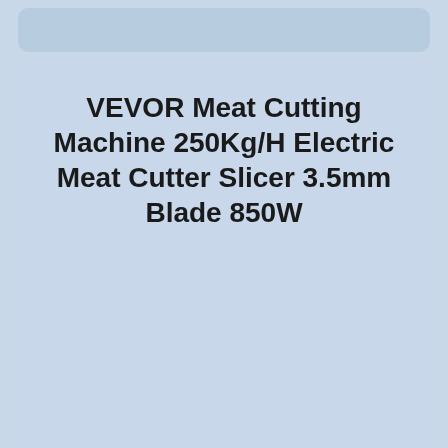VEVOR Meat Cutting Machine 250Kg/H Electric Meat Cutter Slicer 3.5mm Blade 850W
[Figure (photo): Product photo area showing the VEVOR Meat Cutting Machine (appears blank/light blue in the original)]
VEVOR Meat Cutting Machine 250Kg/H Electric Meat Cutter Slicer 3.5mm Blade 850W - YouTube. We offer you a high-quality meat cutter machine. It is built with food-grade stainless steel and for better use we used breathtaking to be a state and